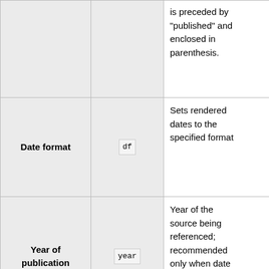| Name | Parameter | Description | Type |
| --- | --- | --- | --- |
|  |  | is preceded by "published" and enclosed in parenthesis. |  |
| Date format | df | Sets rendered dates to the specified format | Strin |
| Year of publication | year | Year of the source being referenced; recommended only when date parameter format is YYYY-MM-DD and a | Num |